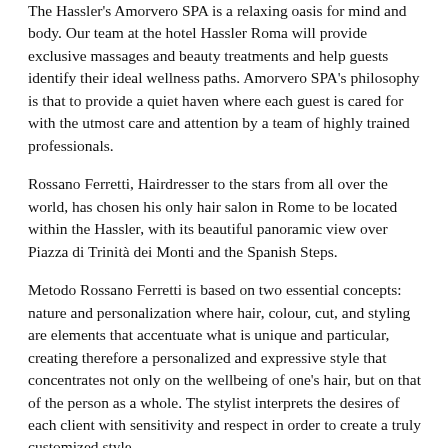The Hassler's Amorvero SPA is a relaxing oasis for mind and body. Our team at the hotel Hassler Roma will provide exclusive massages and beauty treatments and help guests identify their ideal wellness paths. Amorvero SPA's philosophy is that to provide a quiet haven where each guest is cared for with the utmost care and attention by a team of highly trained professionals.
Rossano Ferretti, Hairdresser to the stars from all over the world, has chosen his only hair salon in Rome to be located within the Hassler, with its beautiful panoramic view over Piazza di Trinità dei Monti and the Spanish Steps.
Metodo Rossano Ferretti is based on two essential concepts: nature and personalization where hair, colour, cut, and styling are elements that accentuate what is unique and particular, creating therefore a personalized and expressive style that concentrates not only on the wellbeing of one's hair, but on that of the person as a whole. The stylist interprets the desires of each client with sensitivity and respect in order to create a truly customized style.
Amovero Perfume was dreamed and conceived by Roberto E. Wirth, President and Managing Director of the Hassler